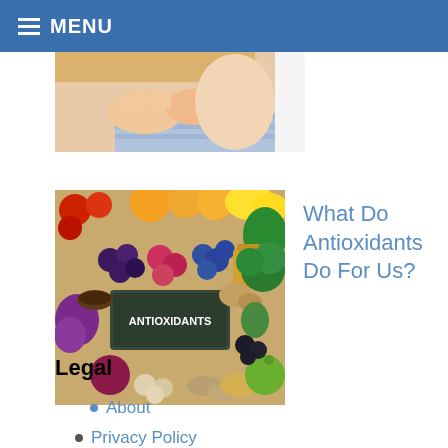MENU
[Figure (photo): Partial view of a person's face with hands covering their mouth, wearing a striped shirt]
[Figure (photo): Flat lay of various antioxidant-rich foods including fruits, vegetables, berries, nuts, and seeds arranged around a chalkboard sign reading ANTIOXIDANTS]
What Do Antioxidants Do For Us?
Legal
About
Privacy Policy